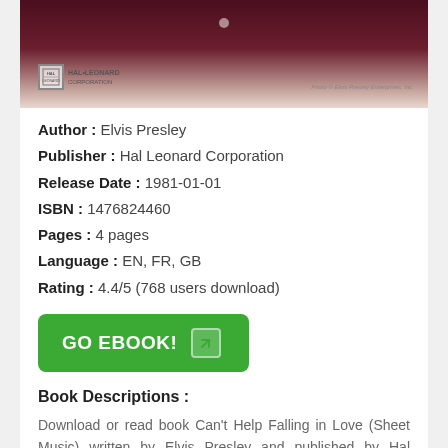[Figure (photo): Book cover image showing a dark reddish-maroon background with Hal Leonard Corporation logo at bottom left and photo credit at bottom right]
Author : Elvis Presley
Publisher : Hal Leonard Corporation
Release Date : 1981-01-01
ISBN : 1476824460
Pages : 4 pages
Language : EN, FR, GB
Rating : 4.4/5 (768 users download)
[Figure (other): Green GO EBOOK! button with arrow icon]
Book Descriptions :
Download or read book Can't Help Falling in Love (Sheet Music) written by Elvis Presley and published by Hal Leonard Corporation. This book was released on 1981-01-01 with total page 4 pages. Available in PDF, EPUB and Kindle. Book excerpt: (Piano Vocal).